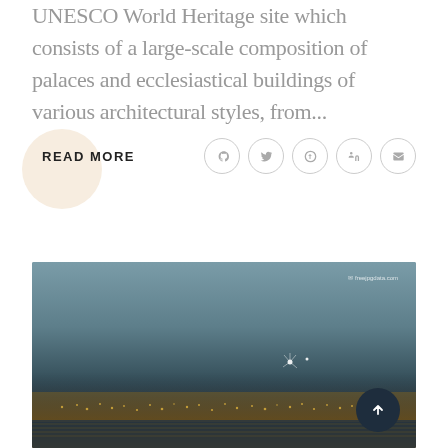UNESCO World Heritage site which consists of a large-scale composition of palaces and ecclesiastical buildings of various architectural styles, from...
READ MORE
[Figure (photo): Nighttime aerial photograph of a coastal city with city lights reflecting on water, dark teal sky, fireworks visible in the distance. Watermark logo in upper right corner.]